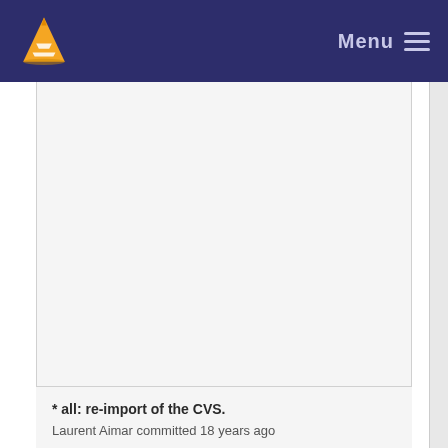Menu
* all: re-import of the CVS.
Laurent Aimar committed 18 years ago